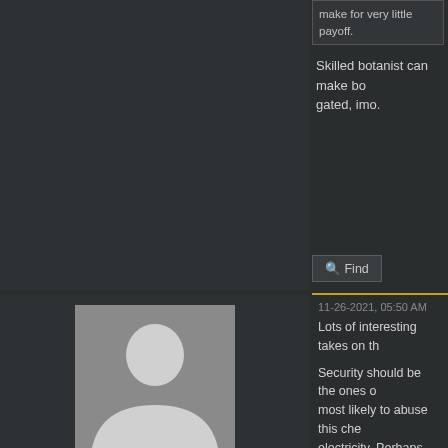Gnome ruben
make for very little payoff.
Skilled botanist can make bo... gated, imo.
Find
11-26-2021, 05:50 AM
[Figure (photo): Default user avatar with silhouette of a person]
Nidabutt
Posts: 57
Threads: 7
Joined: Apr 2021
BYOND Username: Nidabutt
Character Name: Nidalee Dshara:
Lots of interesting takes on th...
Security should be the ones ... most likely to abuse this che... electricity. Perhaps stuns ele... electricity from, for example,... from your system, combo'ed ... slowing, falling unconscious,... prevent them from simply ru...
Alternatively as some people... forcing the user to flush them... able to continue rampaging...